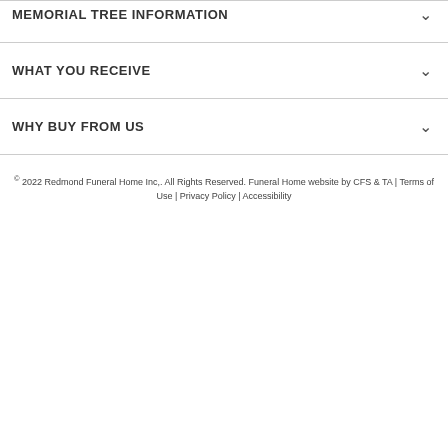MEMORIAL TREE INFORMATION
WHAT YOU RECEIVE
WHY BUY FROM US
© 2022 Redmond Funeral Home Inc,. All Rights Reserved. Funeral Home website by CFS & TA | Terms of Use | Privacy Policy | Accessibility